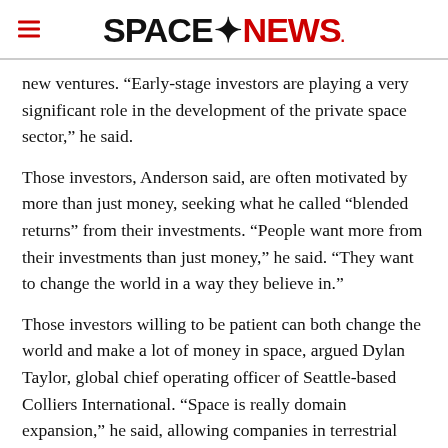SPACENEWS
new ventures. “Early-stage investors are playing a very significant role in the development of the private space sector,” he said.
Those investors, Anderson said, are often motivated by more than just money, seeking what he called “blended returns” from their investments. “People want more from their investments than just money,” he said. “They want to change the world in a way they believe in.”
Those investors willing to be patient can both change the world and make a lot of money in space, argued Dylan Taylor, global chief operating officer of Seattle-based Colliers International. “Space is really domain expansion,” he said, allowing companies in terrestrial